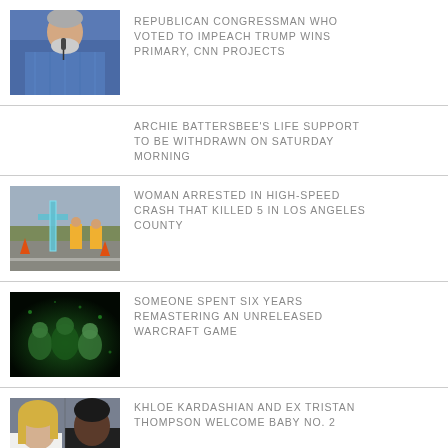[Figure (photo): Man with grey beard speaking into a microphone, wearing a blue plaid shirt]
REPUBLICAN CONGRESSMAN WHO VOTED TO IMPEACH TRUMP WINS PRIMARY, CNN PROJECTS
ARCHIE BATTERSBEE'S LIFE SUPPORT TO BE WITHDRAWN ON SATURDAY MORNING
[Figure (photo): Memorial cross at a crash site with construction workers in yellow vests in background]
WOMAN ARRESTED IN HIGH-SPEED CRASH THAT KILLED 5 IN LOS ANGELES COUNTY
[Figure (photo): Dark gaming screenshot with green-tinted characters, appears to be a Warcraft game]
SOMEONE SPENT SIX YEARS REMASTERING AN UNRELEASED WARCRAFT GAME
[Figure (photo): Khloe Kardashian and Tristan Thompson side-by-side portrait]
KHLOE KARDASHIAN AND EX TRISTAN THOMPSON WELCOME BABY NO. 2